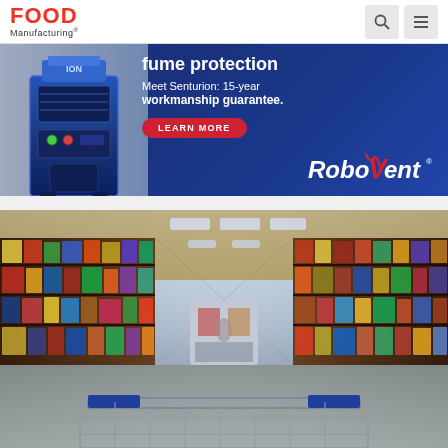[Figure (screenshot): Food Manufacturing website header with red FOOD Manufacturing logo on left and search/menu icons on right]
[Figure (photo): RoboVent advertisement banner showing industrial dust/fume collection machine with text: fume protection, Meet Senturion: 15-year workmanship guarantee. LEARN MORE button. RoboVent logo.]
[Figure (photo): Grocery store aisle photograph taken from cart-level perspective showing shelves stocked with colorful products on both sides, receding into the distance, with a shopping cart visible in the foreground bottom]